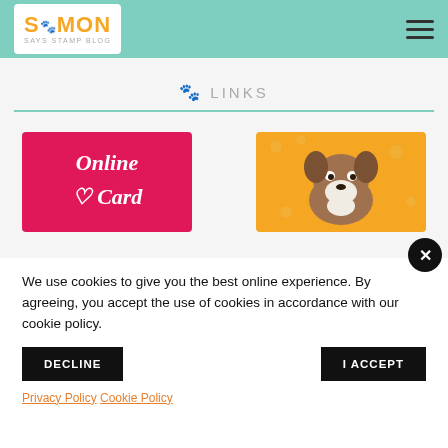Simon Says Stamp Blog - header navigation
🐾 LINKS
[Figure (illustration): Online Card pink banner with cursive white text reading 'Online ♡ Card']
[Figure (illustration): Simon the French Bulldog cartoon on orange background with paw prints]
We use cookies to give you the best online experience. By agreeing, you accept the use of cookies in accordance with our cookie policy.
DECLINE   I ACCEPT
Privacy Policy  Cookie Policy
[Figure (illustration): WE ARE banner partially visible at bottom left]
[Figure (illustration): Partial banner visible at bottom right]